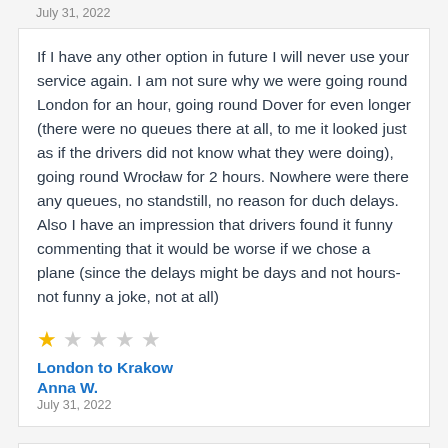July 31, 2022
If I have any other option in future I will never use your service again. I am not sure why we were going round London for an hour, going round Dover for even longer (there were no queues there at all, to me it looked just as if the drivers did not know what they were doing), going round Wrocław for 2 hours. Nowhere were there any queues, no standstill, no reason for duch delays. Also I have an impression that drivers found it funny commenting that it would be worse if we chose a plane (since the delays might be days and not hours- not funny a joke, not at all)
★☆☆☆☆
London to Krakow
Anna W.
July 31, 2022
I've had bad experiences of Sindbad int he past. In fact, absolutely terrible experiences. They seem to be better at going from Lviv to Krakow, than Krakow to Lviv